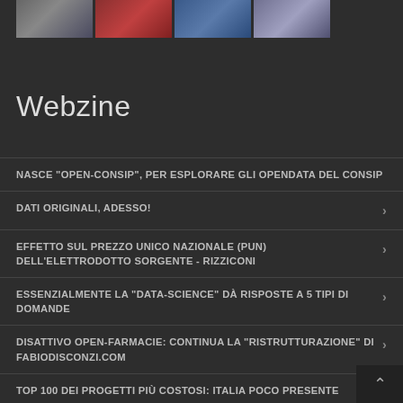[Figure (photo): Strip of four thumbnail photos at top of page]
Webzine
NASCE "OPEN-CONSIP", PER ESPLORARE GLI OPENDATA DEL CONSIP
DATI ORIGINALI, ADESSO!
EFFETTO SUL PREZZO UNICO NAZIONALE (PUN) DELL'ELETTRODOTTO SORGENTE - RIZZICONI
ESSENZIALMENTE LA "DATA-SCIENCE" DÀ RISPOSTE A 5 TIPI DI DOMANDE
DISATTIVO OPEN-FARMACIE: CONTINUA LA "RISTRUTTURAZIONE" DI FABIODISCONZI.COM
TOP 100 DEI PROGETTI PIÙ COSTOSI: ITALIA POCO PRESENTE
UN ANNO (E PIÙ) DI OPEN-CARBURANTI